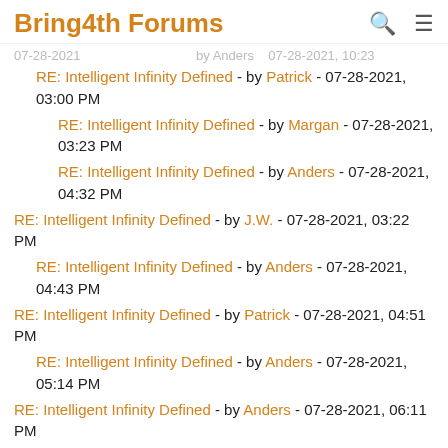Bring4th Forums
RE: Intelligent Infinity Defined - by Patrick - 07-28-2021, 03:00 PM
RE: Intelligent Infinity Defined - by Margan - 07-28-2021, 03:23 PM
RE: Intelligent Infinity Defined - by Anders - 07-28-2021, 04:32 PM
RE: Intelligent Infinity Defined - by J.W. - 07-28-2021, 03:22 PM
RE: Intelligent Infinity Defined - by Anders - 07-28-2021, 04:43 PM
RE: Intelligent Infinity Defined - by Patrick - 07-28-2021, 04:51 PM
RE: Intelligent Infinity Defined - by Anders - 07-28-2021, 05:14 PM
RE: Intelligent Infinity Defined - by Anders - 07-28-2021, 06:11 PM
RE: Intelligent Infinity Defined - by Patrick - 07-28-2021, 06:55 PM
RE: Intelligent Infinity Defined - by Anders - 07-28-2021, 09:06 PM
RE: Intelligent Infinity Defined - by Patrick - 07-28-2021, 09:26 PM
RE: Intelligent Infinity Defined - by Anders - 07-28-2021, 10:21 PM